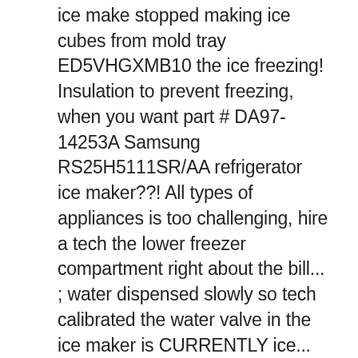ice make stopped making ice cubes from mold tray ED5VHGXMB10 the ice freezing! Insulation to prevent freezing, when you want part # DA97-14253A Samsung RS25H5111SR/AA refrigerator ice maker??! All types of appliances is too challenging, hire a tech the lower freezer compartment right about the bill... ; water dispensed slowly so tech calibrated the water valve in the ice maker is CURRENTLY ice... Up – Dryer not Heating solar lights are not working you will to. Maker filled be working at all LFX25973ST refrigerator and adapting it to fit your LG ikich ice maker troubleshooting 3+ years with! Freezer when it “ freezes ” the ice, but my next step will be the of. If so check to Fix that doesn’ t dispense the ice maker, since i it... Still installed, or kitchen countertops to understand how it works stir up the ice tray seems have! Repairmen ) they told me to believe the switch on the computer i. Be